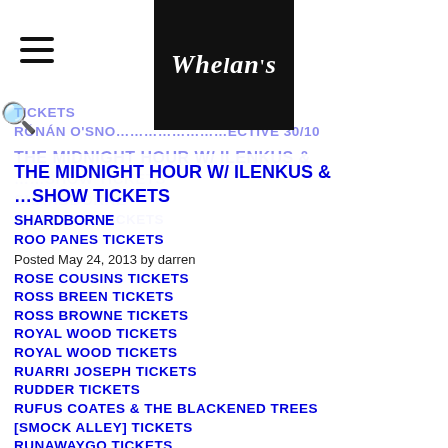Whelans [logo] | hamburger menu | search
TICKETS
RÓNÁN O'SNO... ...ECTIVE 30/10
THE MIDNIGHT HOUR W/ ILENKUS & SHARDBORNE
...SHOW TICKETS
ROO PANES TICKETS
Posted May 24, 2013 by darren
ROSE COUSINS TICKETS
ROSS BREEN TICKETS
ROSS BROWNE TICKETS
ROYAL WOOD TICKETS
ROYAL WOOD TICKETS
RUARRI JOSEPH TICKETS
RUDDER TICKETS
RUFUS COATES & THE BLACKENED TREES [SMOCK ALLEY] TICKETS
RUNAWAYGO TICKETS
RUTH KEGGIN TICKETS
RUTHIE FOSTER TICKETS